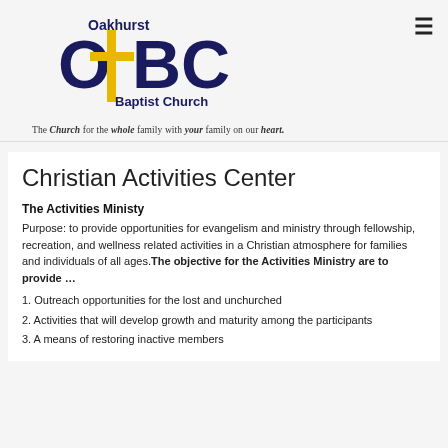[Figure (logo): Oakhurst Baptist Church logo with cross and OBC lettering]
The Church for the whole family with your family on our heart.
Christian Activities Center
The Activities Ministy
Purpose: to provide opportunities for evangelism and ministry through fellowship, recreation, and wellness related activities in a Christian atmosphere for families and individuals of all ages. The objective for the Activities Ministry are to provide …
1. Outreach opportunities for the lost and unchurched
2. Activities that will develop growth and maturity among the participants
3. A means of restoring inactive members